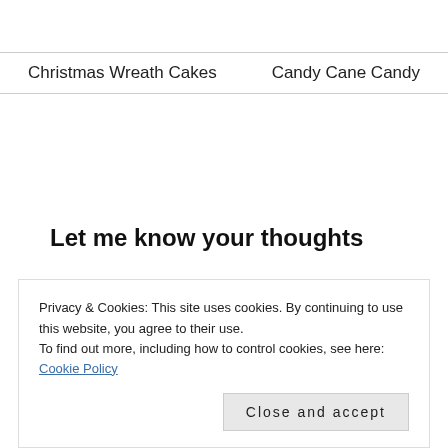Christmas Wreath Cakes    Candy Cane Candy
Let me know your thoughts
Enter your comment here...
Privacy & Cookies: This site uses cookies. By continuing to use this website, you agree to their use. To find out more, including how to control cookies, see here: Cookie Policy
Close and accept